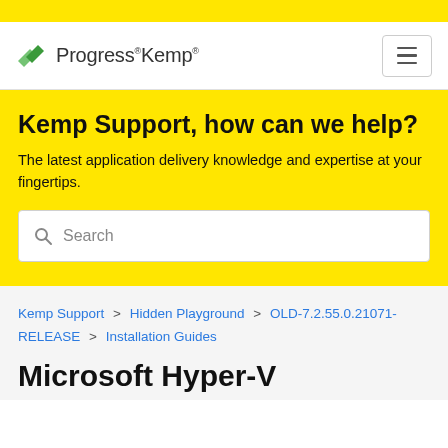[Figure (logo): Progress Kemp logo with green leaf/arrow icon and text]
Kemp Support, how can we help?
The latest application delivery knowledge and expertise at your fingertips.
Search
Kemp Support > Hidden Playground > OLD-7.2.55.0.21071-RELEASE > Installation Guides
Microsoft Hyper-V